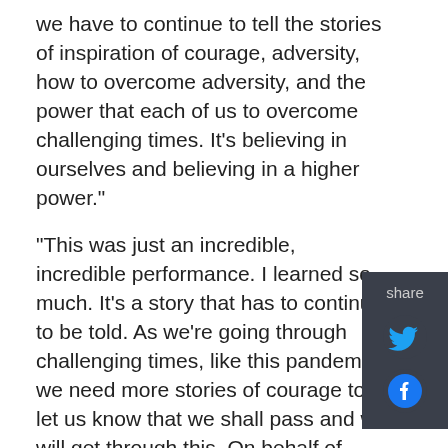we have to continue to tell the stories of inspiration of courage, adversity, how to overcome adversity, and the power that each of us to overcome challenging times. It's believing in ourselves and believing in a higher power."

"This was just an incredible, incredible performance. I learned so much. It's a story that has to continue to be told. As we're going through challenging times, like this pandemic, we need more stories of courage to let us know that we shall pass and we will get through this. On behalf of Mayor Eric Adams, who absolutely said "you must be there tonight," who has an incredible schedule, and this means too much to him. I represent him, and this is an honor to be here. It's an honor to open back up New York City with Arts and Culture. Because of our culture New York City is the center of the world. If we can continue to bring life through our culture with songs, dance, and music,
[Figure (infographic): Share sidebar with Twitter and Facebook icons on dark background]